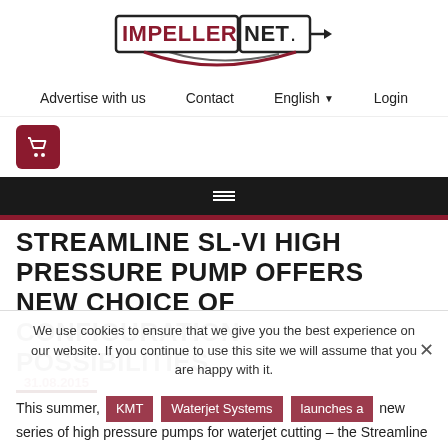[Figure (logo): IMPELLER.NET logo with red and black text, swoosh design with arrow]
Advertise with us   Contact   English ▼   Login
[Figure (other): Shopping cart icon in dark red square]
☰ hamburger menu on dark background
STREAMLINE SL-VI HIGH PRESSURE PUMP OFFERS NEW CHOICE OF CONFIGURATION POSSIBILITIES
We use cookies to ensure that we give you the best experience on our website. If you continue to use this site we will assume that you are happy with it.
31.08.2015
This summer, KMT Waterjet Systems launches a new series of high pressure pumps for waterjet cutting – the Streamline